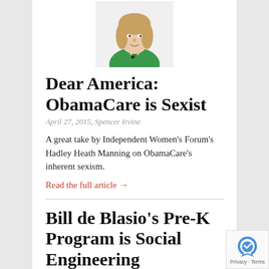[Figure (photo): Headshot of a woman with blonde hair wearing a green top, shown from the shoulders up against a white background]
Dear America: ObamaCare is Sexist
April 27, 2015, Spencer Irvine
A great take by Independent Women's Forum's Hadley Heath Manning on ObamaCare's inherent sexism.
Read the full article →
Bill de Blasio's Pre-K Program is Social Engineering
April 17, 2015, Spencer Irvine